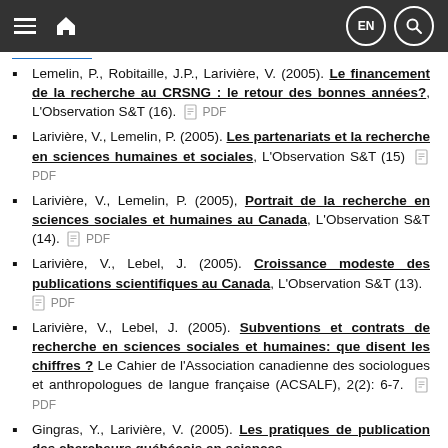Navigation bar with menu, home, language (EN) and search icons
Lemelin, P., Robitaille, J.P., Larivière, V. (2005). Le financement de la recherche au CRSNG : le retour des bonnes années?, L'Observation S&T (16). PDF
Larivière, V., Lemelin, P. (2005). Les partenariats et la recherche en sciences humaines et sociales, L'Observation S&T (15) PDF
Larivière, V., Lemelin, P. (2005), Portrait de la recherche en sciences sociales et humaines au Canada, L'Observation S&T (14). PDF
Larivière, V., Lebel, J. (2005). Croissance modeste des publications scientifiques au Canada, L'Observation S&T (13). PDF
Larivière, V., Lebel, J. (2005). Subventions et contrats de recherche en sciences sociales et humaines: que disent les chiffres ? Le Cahier de l'Association canadienne des sociologues et anthropologues de langue française (ACSALF), 2(2): 6-7. PDF
Gingras, Y., Larivière, V. (2005). Les pratiques de publication des chercheurs québécois en sciences...